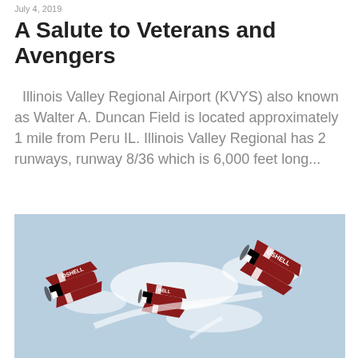July 4, 2019
A Salute to Veterans and Avengers
Illinois Valley Regional Airport (KVYS) also known as Walter A. Duncan Field is located approximately 1 mile from Peru IL. Illinois Valley Regional has 2 runways, runway 8/36 which is 6,000 feet long...
[Figure (photo): Three red and white aerobatic biplanes with checkered nose markings and 'OSHELL' text on their wings performing a synchronized maneuver with smoke trails against a blue sky background.]